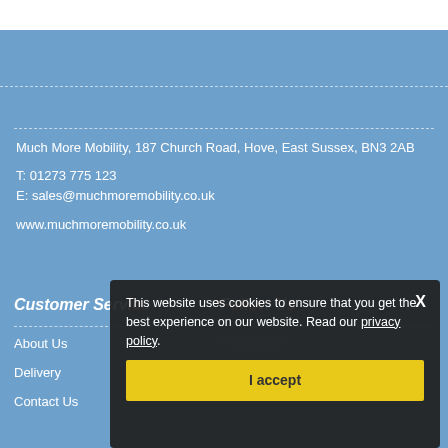Much More Mobility, 187 Church Road, Hove, East Sussex, BN3 2AB
T: 01273 775 123
E: sales@muchmoremobility.co.uk
www.muchmoremobility.co.uk
Customer Service
Follow Us
About Us
Delivery
Contact Us
This website uses cookies to ensure that you get the best experience on our website. Read our privacy policy.